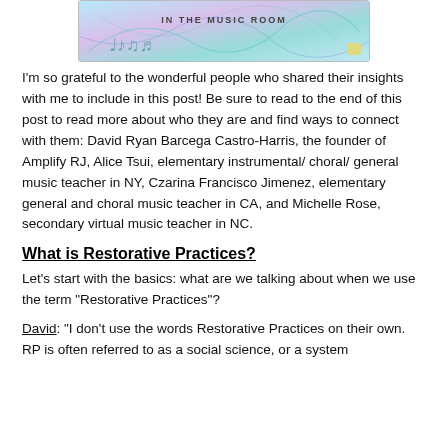[Figure (illustration): Banner image for a music room blog with colorful teal, pink, and blue abstract background with musical notes and the text 'IN THE MUSIC ROOM']
I'm so grateful to the wonderful people who shared their insights with me to include in this post! Be sure to read to the end of this post to read more about who they are and find ways to connect with them: David Ryan Barcega Castro-Harris, the founder of Amplify RJ, Alice Tsui, elementary instrumental/ choral/ general music teacher in NY, Czarina Francisco Jimenez, elementary general and choral music teacher in CA, and Michelle Rose, secondary virtual music teacher in NC.
What is Restorative Practices?
Let's start with the basics: what are we talking about when we use the term "Restorative Practices"?
David: "I don't use the words Restorative Practices on their own. RP is often referred to as a social science, or a system